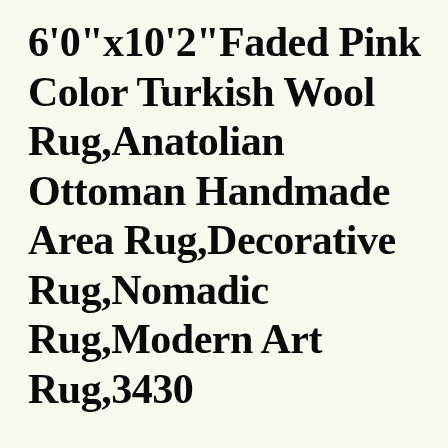6'0"x10'2"Faded Pink Color Turkish Wool Rug,Anatolian Ottoman Handmade Area Rug,Decorative Rug,Nomadic Rug,Modern Art Rug,3430